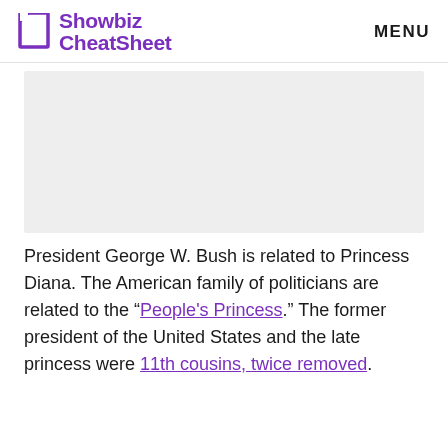Showbiz CheatSheet   MENU
[Figure (other): Gray advertisement placeholder rectangle]
President George W. Bush is related to Princess Diana. The American family of politicians are related to the “People’s Princess.” The former president of the United States and the late princess were 11th cousins, twice removed.